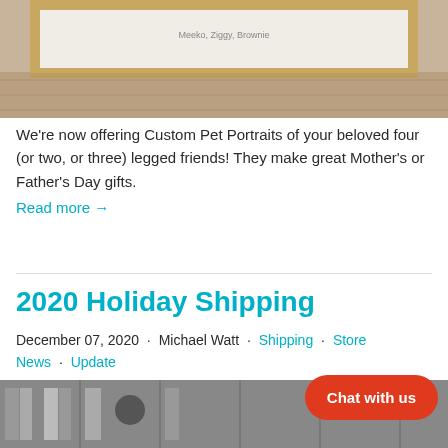[Figure (photo): Framed custom pet portrait print leaning against a wall on a wooden floor, with text 'Meeko, Ziggy, Brownie' visible on the print. Light wood frame.]
We're now offering Custom Pet Portraits of your beloved four (or two, or three) legged friends! They make great Mother's or Father's Day gifts.
Read more →
2020 Holiday Shipping
December 07, 2020  •  Michael Watt  •  Shipping  •  Store News  •  Update
[Figure (photo): Black and white photo of shelving or storage unit, partially visible at bottom of page.]